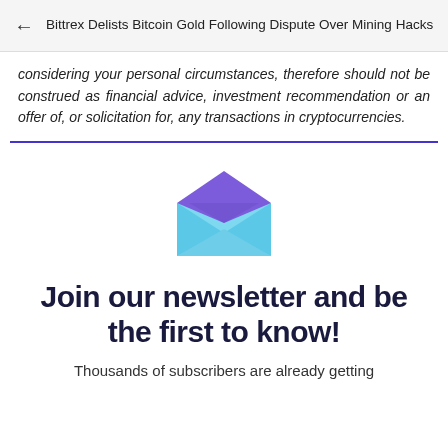Bittrex Delists Bitcoin Gold Following Dispute Over Mining Hacks
considering your personal circumstances, therefore should not be construed as financial advice, investment recommendation or an offer of, or solicitation for, any transactions in cryptocurrencies.
[Figure (illustration): Open envelope icon with purple flap and light blue body]
Join our newsletter and be the first to know!
Thousands of subscribers are already getting